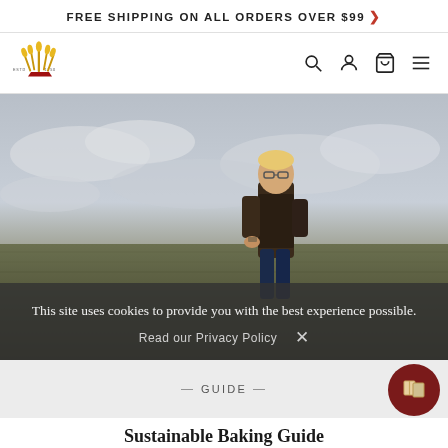FREE SHIPPING ON ALL ORDERS OVER $99 >
[Figure (logo): Grain/wheat crown logo with ESTD 1750 text]
[Figure (photo): Man standing in a wheat/grain field under cloudy sky]
This site uses cookies to provide you with the best experience possible.
Read our Privacy Policy
— GUIDE —
Sustainable Baking Guide